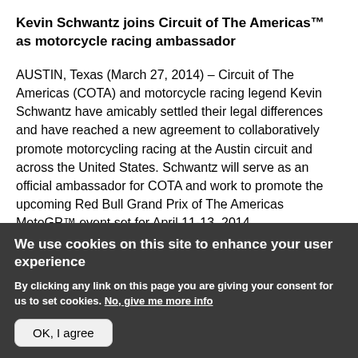Kevin Schwantz joins Circuit of The Americas™ as motorcycle racing ambassador
AUSTIN, Texas (March 27, 2014) – Circuit of The Americas (COTA) and motorcycle racing legend Kevin Schwantz have amicably settled their legal differences and have reached a new agreement to collaboratively promote motorcycling racing at the Austin circuit and across the United States. Schwantz will serve as an official ambassador for COTA and work to promote the upcoming Red Bull Grand Prix of The Americas MotoGP™ event set for April 11-13, 2014.
We use cookies on this site to enhance your user experience
By clicking any link on this page you are giving your consent for us to set cookies. No, give me more info
OK, I agree